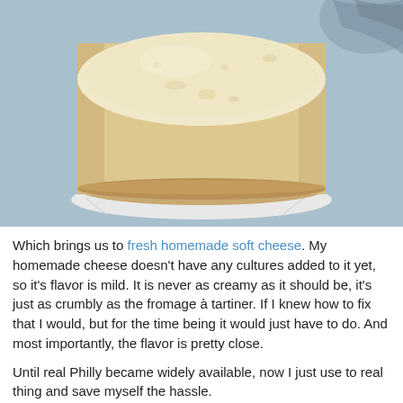[Figure (photo): A round wheel of fresh homemade soft cheese viewed from above, with a pale yellow-white top and slightly browned sides, resting on a white napkin on a blue plate. The background shows a decorative patterned cloth.]
Which brings us to fresh homemade soft cheese. My homemade cheese doesn't have any cultures added to it yet, so it's flavor is mild. It is never as creamy as it should be, it's just as crumbly as the fromage à tartiner. If I knew how to fix that I would, but for the time being it would just have to do. And most importantly, the flavor is pretty close.
Until real Philly became widely available, now I just use to real thing and save myself the hassle.